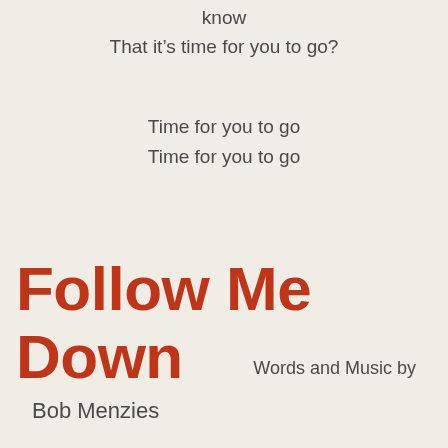know
That it’s time for you to go?
Time for you to go
Time for you to go
Follow Me Down
Words and Music by
Bob Menzies